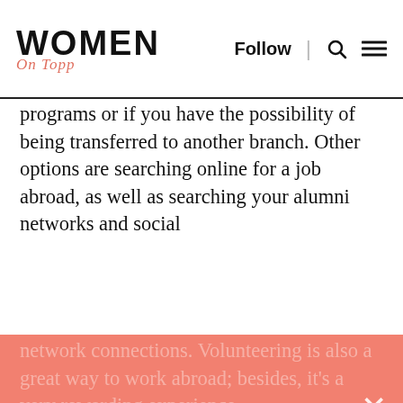WOMEN On Topp | Follow | [search] [menu]
programs or if you have the possibility of being transferred to another branch. Other options are searching online for a job abroad, as well as searching your alumni networks and social
network connections. Volunteering is also a great way to work abroad; besides, it's a very rewarding experience.
your cover letter or during an interview, find recommendations and refer to portray the different aspects of their company and that you are willing and prepared to start.
Furthermore, assure them that you are flexible enough to handle foreign
Subscribe & Become Successful
receive our newsletters and updates by email
Email
SUBSCRIBE